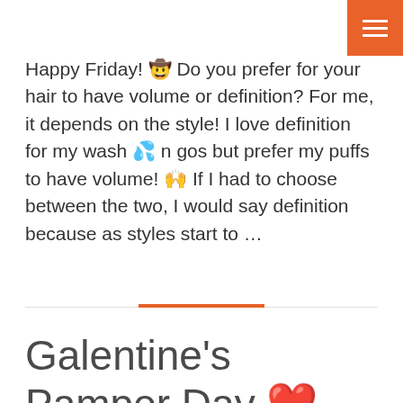[Figure (other): Orange hamburger menu button in top-right corner]
Happy Friday! 🤠 Do you prefer for your hair to have volume or definition? For me, it depends on the style! I love definition for my wash 💦 n gos but prefer my puffs to have volume! 🙌 If I had to choose between the two, I would say definition because as styles start to ...
[Figure (other): Horizontal divider line with orange accent bar centered]
Galentine's Pamper Day ❤️ hosted by ORS Curls Unleashed!